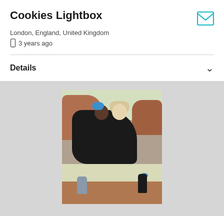Cookies Lightbox
London, England, United Kingdom
3 years ago
Details
[Figure (photo): Two people, one with blue hair and one with blonde hair, draped in dark fabric, posed against rocky terrain with pale sky background.]
[Figure (photo): Two figures in an outdoor rocky landscape, one with blue hair on the right, the other seated or crouching on the left.]